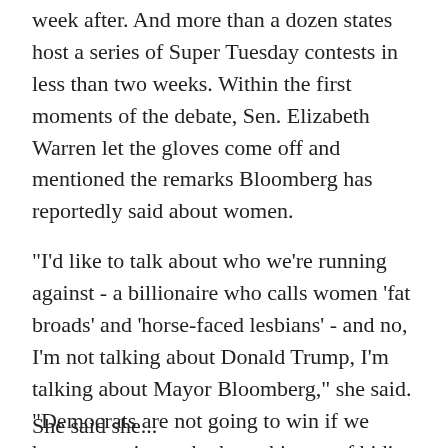week after. And more than a dozen states host a series of Super Tuesday contests in less than two weeks. Within the first moments of the debate, Sen. Elizabeth Warren let the gloves come off and mentioned the remarks Bloomberg has reportedly said about women.
"I'd like to talk about who we're running against - a billionaire who calls women 'fat broads' and 'horse-faced lesbians' - and no, I'm not talking about Donald Trump, I'm talking about Mayor Bloomberg," she said. "Democrats are not going to win if we have a nominee who has a history of hiding his tax returns, of harassing women and of supporting racist policies like redlining and stop-and-frisk."
She said she...